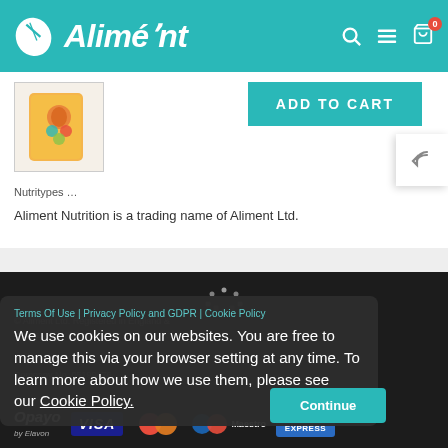[Figure (logo): Aliment brand logo with teal leaf icon and italic white text on teal header bar]
[Figure (photo): Product image thumbnail showing a supplement bag with bird/parrot graphics]
ADD TO CART
Aliment Nutrition is a trading name of Aliment Ltd.
Terms Of Use | Privacy Policy and GDPR | Cookie Policy
We use cookies on our websites. You are free to manage this via your browser setting at any time. To learn more about how we use them, please see our Cookie Policy.
Continue
Company No. 05199476
[Figure (logo): Payment logos: Opayo by Elavon, VISA, Mastercard, Maestro, American Express]